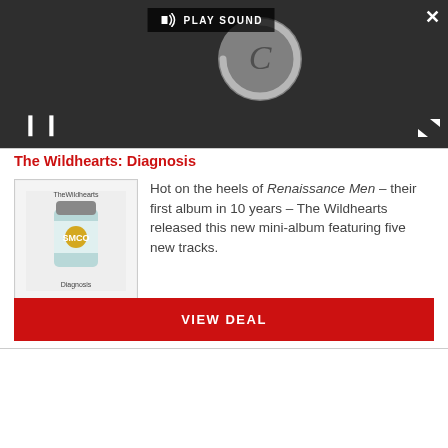[Figure (screenshot): Media player UI showing a loading spinner (circular 'C' shape) on dark background with play sound bar, pause button, close X, and expand arrows]
The Wildhearts: Diagnosis
[Figure (photo): Album cover for The Wildhearts - Diagnosis, showing a small medicine/pill bottle with teal label on white background]
Hot on the heels of Renaissance Men – their first album in 10 years – The Wildhearts released this new mini-album featuring five new tracks.
VIEW DEAL